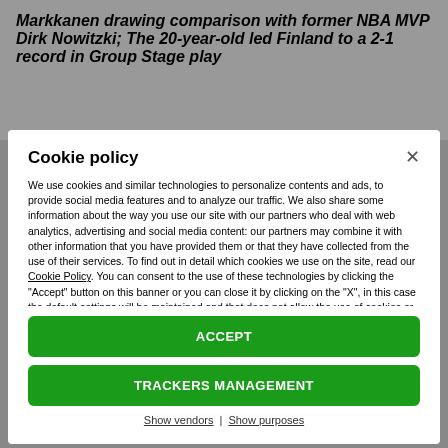Markkanen drawing comparison with former NBA MVP Dirk Nowitzki; The 20-year-old led Finland to a 2-1 record in Group Stage play
Cookie policy
We use cookies and similar technologies to personalize contents and ads, to provide social media features and to analyze our traffic. We also share some information about the way you use our site with our partners who deal with web analytics, advertising and social media content: our partners may combine it with other information that you have provided them or that they have collected from the use of their services. To find out in detail which cookies we use on the site, read our Cookie Policy. You can consent to the use of these technologies by clicking the "Accept" button on this banner or you can close it by clicking on the "X", in this case the default settings will be maintained and that does not allow the use of cookies or other tracking tools other than technologycal ones. To change your choices at any time, click on “Tracking Management.”
ACCEPT
TRACKERS MANAGEMENT
Show vendors | Show purposes